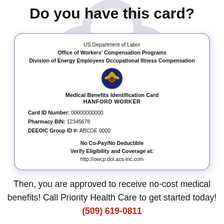Do you have this card?
[Figure (other): Sample US Department of Labor DEEOIC Medical Benefits Identification Card for Hanford Worker with card ID, pharmacy BIN, group ID, and website details.]
Then, you are approved to receive no-cost medical benefits! Call Priority Health Care to get started today! (509) 619-0811